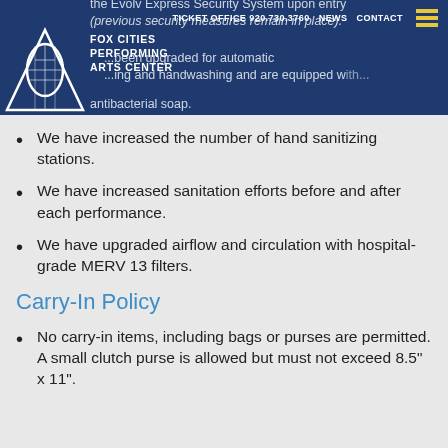TICKET OFFICE 920.730.3760  NEWS  CONTACT
the Evolv Express Security System upon entry (previous security measures remain in place).
...been upgraded for automatic ...ing and handwashing and are equipped with antibacterial soap.
We have increased the number of hand sanitizing stations.
We have increased sanitation efforts before and after each performance.
We have upgraded airflow and circulation with hospital-grade MERV 13 filters.
Carry-In Policy
No carry-in items, including bags or purses are permitted. A small clutch purse is allowed but must not exceed 8.5" x 11".